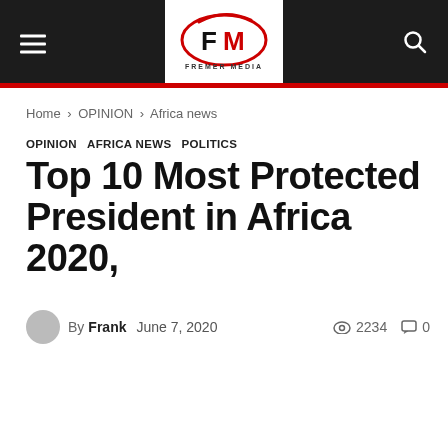[Figure (logo): Fremer Media logo with FM letters inside oval shape, red and black colors, text FREMER MEDIA below]
Home › OPINION › Africa news
OPINION  AFRICA NEWS  POLITICS
Top 10 Most Protected President in Africa 2020,
By Frank  June 7, 2020  2234  0